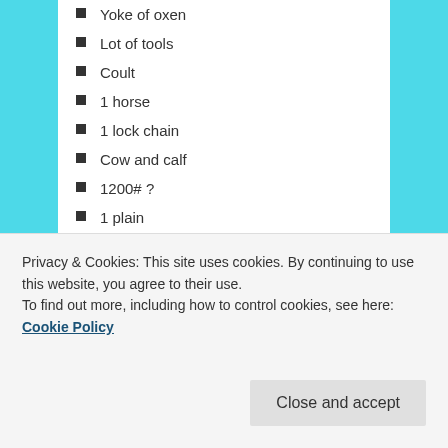Yoke of oxen
Lot of tools
Coult
1 horse
1 lock chain
Cow and calf
1200# ?
1 plain
1 mare
1 bridle
2 hoes
Coulter and iron
Remnant of oats
Cutting knife and hammer
202 lb bacon
Privacy & Cookies: This site uses cookies. By continuing to use this website, you agree to their use. To find out more, including how to control cookies, see here: Cookie Policy
Plow